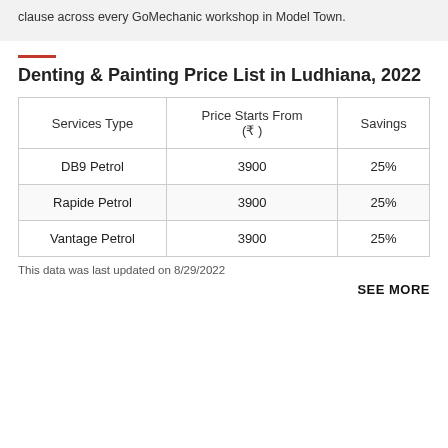clause across every GoMechanic workshop in Model Town.
Denting & Painting Price List in Ludhiana, 2022
| Services Type | Price Starts From (₹) | Savings |
| --- | --- | --- |
| DB9 Petrol | 3900 | 25% |
| Rapide Petrol | 3900 | 25% |
| Vantage Petrol | 3900 | 25% |
This data was last updated on 8/29/2022
SEE MORE